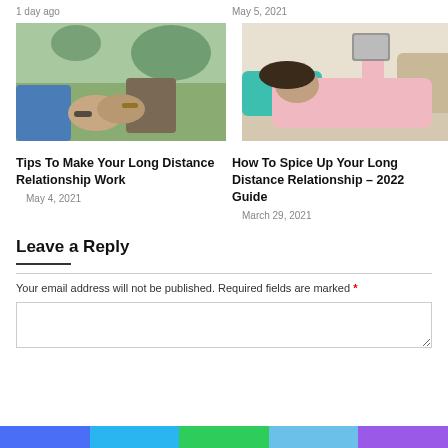1 day ago
May 5, 2021
[Figure (photo): Two people holding hands outdoors, one wearing a bracelet and watch]
Tips To Make Your Long Distance Relationship Work
May 4, 2021
[Figure (photo): Woman lying on couch reading a book or tablet, wearing pink top]
How To Spice Up Your Long Distance Relationship – 2022 Guide
March 29, 2021
Leave a Reply
Your email address will not be published. Required fields are marked *